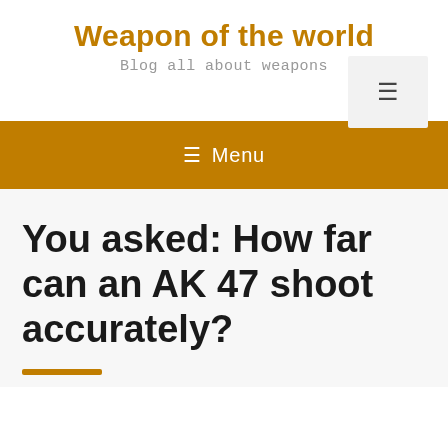Weapon of the world
Blog all about weapons
[Figure (other): Hamburger menu button icon (three horizontal lines) in a light gray box]
≡ Menu
You asked: How far can an AK 47 shoot accurately?